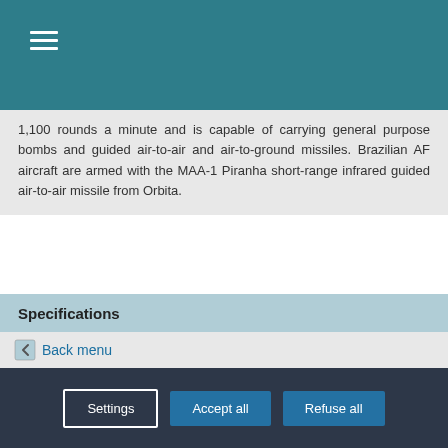Navigation menu header bar
1,100 rounds a minute and is capable of carrying general purpose bombs and guided air-to-air and air-to-ground missiles. Brazilian AF aircraft are armed with the MAA-1 Piranha short-range infrared guided air-to-air missile from Orbita.
Specifications
Back menu
Our site Air Recognition uses cookies to perform visit statistics, share content on social networks and improve your experience. By refusing cookies, some services will not function properly. We store your choice for 30 days. You can change your mind by clicking on the ‘Cookies’ button at the bottom left of every page of our site. Learn more